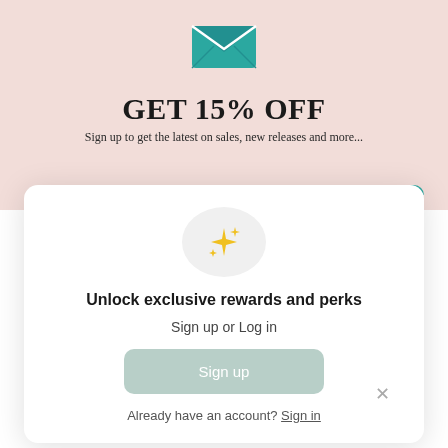[Figure (illustration): Teal envelope icon centered on pink background]
GET 15% OFF
Sign up to get the latest on sales, new releases and more...
[Figure (illustration): Modal dialog with sparkle star icon, sign up or log in prompt, Sign up button, and sign in link]
Unlock exclusive rewards and perks
Sign up or Log in
Sign up
Already have an account? Sign in